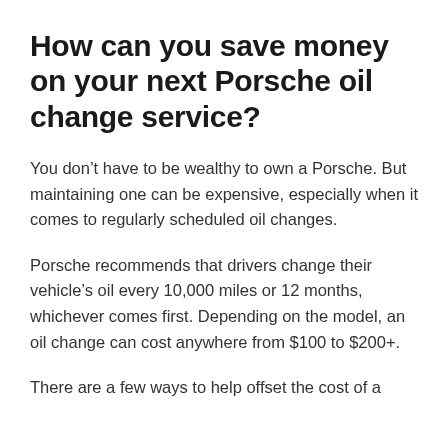How can you save money on your next Porsche oil change service?
You don’t have to be wealthy to own a Porsche. But maintaining one can be expensive, especially when it comes to regularly scheduled oil changes.
Porsche recommends that drivers change their vehicle’s oil every 10,000 miles or 12 months, whichever comes first. Depending on the model, an oil change can cost anywhere from $100 to $200+.
There are a few ways to help offset the cost of a